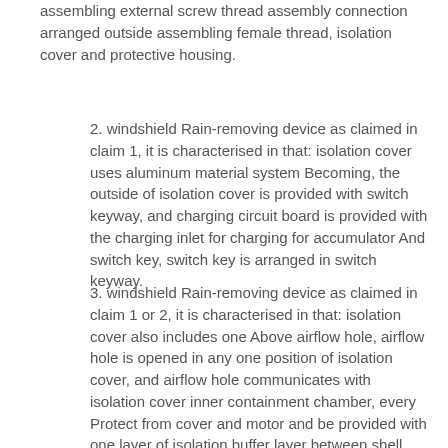assembling external screw thread assembly connection arranged outside assembling female thread, isolation cover and protective housing.
2. windshield Rain-removing device as claimed in claim 1, it is characterised in that: isolation cover uses aluminum material system Becoming, the outside of isolation cover is provided with switch keyway, and charging circuit board is provided with the charging inlet for charging for accumulator And switch key, switch key is arranged in switch keyway.
3. windshield Rain-removing device as claimed in claim 1 or 2, it is characterised in that: isolation cover also includes one Above airflow hole, airflow hole is opened in any one position of isolation cover, and airflow hole communicates with isolation cover inner containment chamber, every Protect from cover and motor and be provided with one layer of isolation buffer layer between shell.
4. windshield Rain-removing device as claimed in claim 1, it is characterised in that: pars contractilis includes that first stretches Sheet, the second stretchable sheet, the first stretchable sheet and the second stretchable sheet